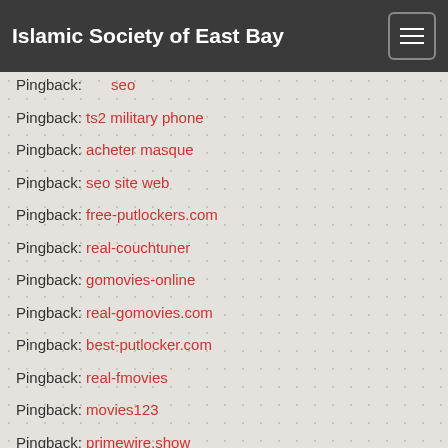Islamic Society of East Bay
Pingback: seo
Pingback: ts2 military phone
Pingback: acheter masque
Pingback: seo site web
Pingback: free-putlockers.com
Pingback: real-couchtuner
Pingback: gomovies-online
Pingback: real-gomovies.com
Pingback: best-putlocker.com
Pingback: real-fmovies
Pingback: movies123
Pingback: primewire.show
Pingback: couchtuner.name
Pingback: music download
Pingback: SSD Chemical Solution for Sale
Pingback: satellite phone
Pingback: TS2 Satellite Telecommunications